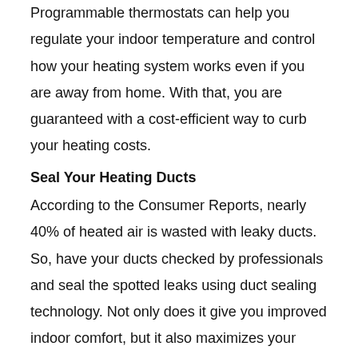Programmable thermostats can help you regulate your indoor temperature and control how your heating system works even if you are away from home. With that, you are guaranteed with a cost-efficient way to curb your heating costs.
Seal Your Heating Ducts
According to the Consumer Reports, nearly 40% of heated air is wasted with leaky ducts. So, have your ducts checked by professionals and seal the spotted leaks using duct sealing technology. Not only does it give you improved indoor comfort, but it also maximizes your annual saving up to $850.
Add Insulation
Properly insulated attics and floor openings can result in great energy savings. According to the Consumer Reports